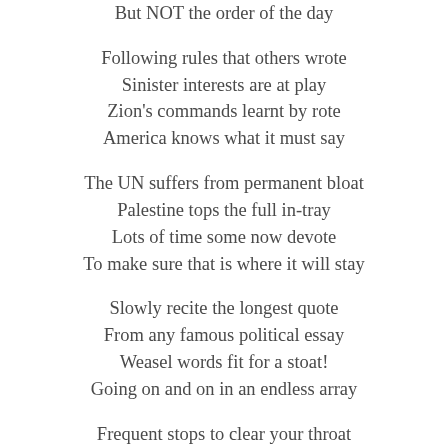But NOT the order of the day

Following rules that others wrote
Sinister interests are at play
Zion's commands learnt by rote
America knows what it must say

The UN suffers from permanent bloat
Palestine tops the full in-tray
Lots of time some now devote
To make sure that is where it will stay

Slowly recite the longest quote
From any famous political essay
Weasel words fit for a stoat!
Going on and on in an endless array

Frequent stops to clear your throat